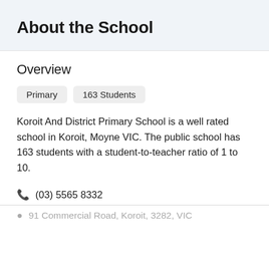About the School
Overview
Primary
163 Students
Koroit And District Primary School is a well rated school in Koroit, Moyne VIC. The public school has 163 students with a student-to-teacher ratio of 1 to 10.
(03) 5565 8332
91 Commercial Road, Koroit, 3282, VIC